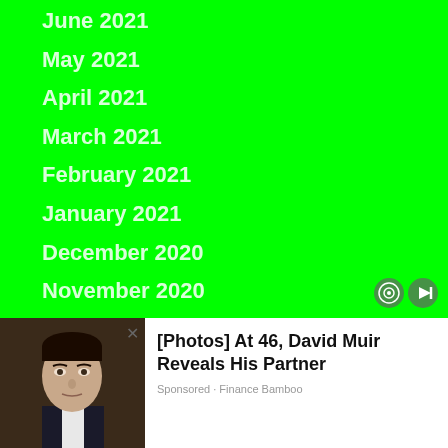June 2021
May 2021
April 2021
March 2021
February 2021
January 2021
December 2020
November 2020
October 2020
September 2020
Aug...
July...
[Figure (photo): Advertisement overlay showing a man's photo (David Muir) with headline '[Photos] At 46, David Muir Reveals His Partner' and sponsored label 'Finance Bamboo']